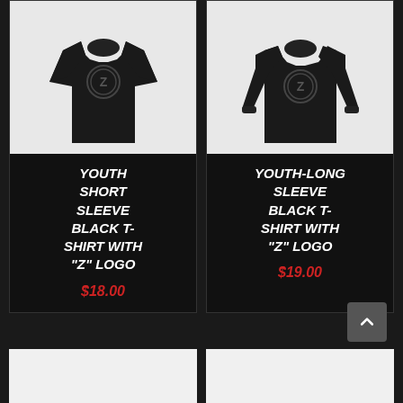[Figure (photo): Black youth short sleeve t-shirt with Z logo]
[Figure (photo): Black youth long sleeve t-shirt with Z logo]
YOUTH SHORT SLEEVE BLACK T-SHIRT WITH "Z" LOGO
$18.00
YOUTH-LONG SLEEVE BLACK T-SHIRT WITH "Z" LOGO
$19.00